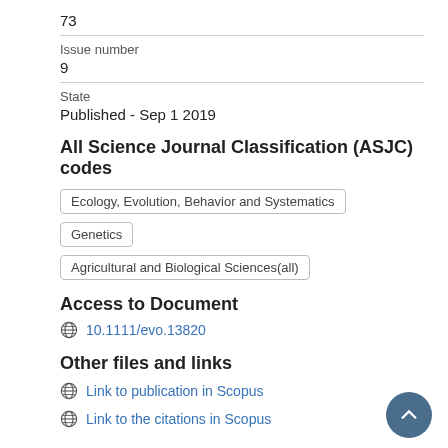73
Issue number
9
State
Published - Sep 1 2019
All Science Journal Classification (ASJC) codes
Ecology, Evolution, Behavior and Systematics
Genetics
Agricultural and Biological Sciences(all)
Access to Document
10.1111/evo.13820
Other files and links
Link to publication in Scopus
Link to the citations in Scopus